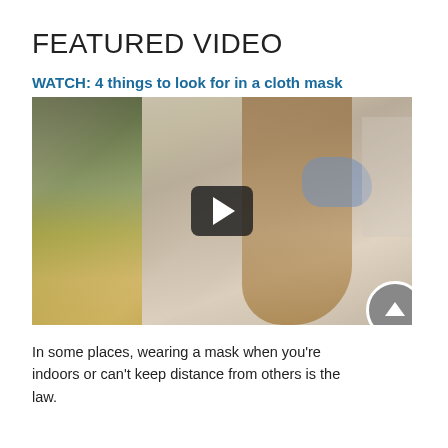FEATURED VIDEO
WATCH: 4 things to look for in a cloth mask
[Figure (photo): Video thumbnail showing a woman wearing a blue cloth face mask in a store, viewed from the side, with store shelves in the background. A play button overlay is visible in the center. A scroll-up circular button is in the lower right corner.]
In some places, wearing a mask when you're indoors or can't keep distance from others is the law.